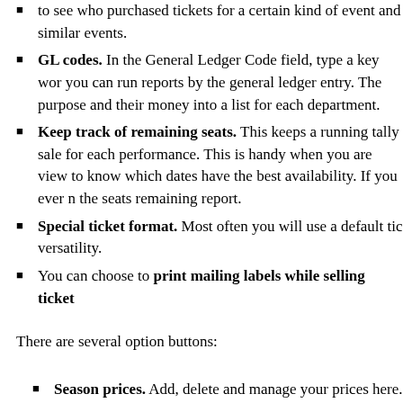to see who purchased tickets for a certain kind of event and similar events.
GL codes. In the General Ledger Code field, type a key word you can run reports by the general ledger entry. The purpose and their money into a list for each department.
Keep track of remaining seats. This keeps a running tally sale for each performance. This is handy when you are view to know which dates have the best availability. If you ever n the seats remaining report.
Special ticket format. Most often you will use a default tick versatility.
You can choose to print mailing labels while selling ticket
There are several option buttons:
Season prices. Add, delete and manage your prices here.
Edit chart. Allows you to edit the chart data.
Add date. Add a performance to your package. In general, f